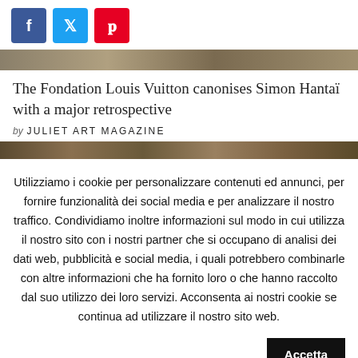[Figure (other): Social share buttons: Facebook (blue), Twitter (light blue), Pinterest (red)]
[Figure (photo): Partial photo strip at top of article image]
The Fondation Louis Vuitton canonises Simon Hantaï with a major retrospective
by JULIET ART MAGAZINE
[Figure (photo): Partial photo strip below byline]
Utilizziamo i cookie per personalizzare contenuti ed annunci, per fornire funzionalità dei social media e per analizzare il nostro traffico. Condividiamo inoltre informazioni sul modo in cui utilizza il nostro sito con i nostri partner che si occupano di analisi dei dati web, pubblicità e social media, i quali potrebbero combinarle con altre informazioni che ha fornito loro o che hanno raccolto dal suo utilizzo dei loro servizi. Acconsenta ai nostri cookie se continua ad utilizzare il nostro sito web.
Accetta
Rifiuta
Leggi